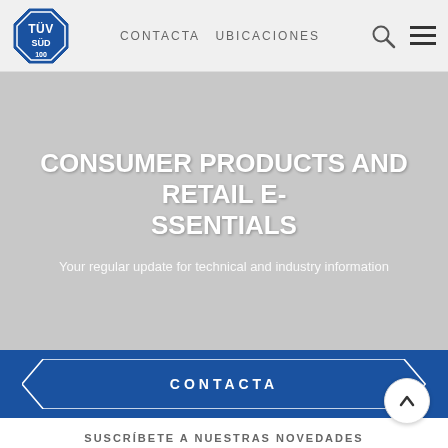TÜV SÜD logo | CONTACTA  UBICACIONES
CONSUMER PRODUCTS AND RETAIL ESSENTIALS
Your regular update for technical and industry information
CONTACTA
SUSCRÍBETE A NUESTRAS NOVEDADES